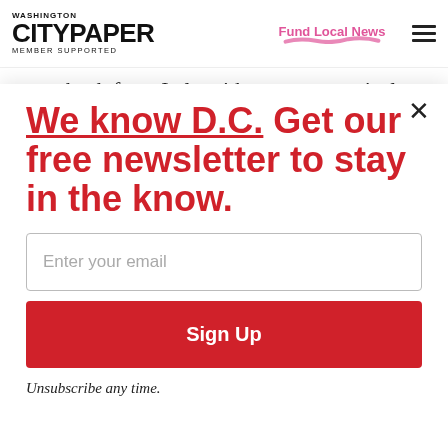WASHINGTON CITYPAPER MEMBER SUPPORTED | Fund Local News
came back from Italy with an asymmetrical
We know D.C. Get our free newsletter to stay in the know.
Enter your email
Sign Up
Unsubscribe any time.